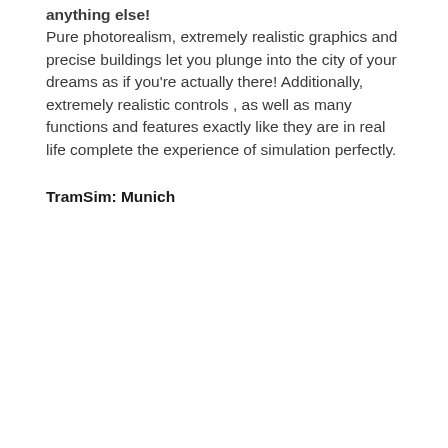anything else! Pure photorealism, extremely realistic graphics and precise buildings let you plunge into the city of your dreams as if you're actually there! Additionally, extremely realistic controls , as well as many functions and features exactly like they are in real life complete the experience of simulation perfectly.
TramSim: Munich